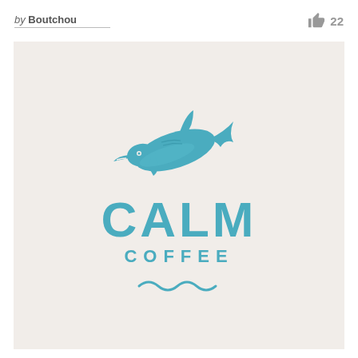by Boutchou   👍 22
[Figure (logo): Calm Coffee logo featuring a jumping dolphin illustration in teal/blue color above the text 'CALM' in large bold teal letters, with 'COFFEE' in smaller spaced teal letters below, and a wave motif at the bottom. Logo is on a light beige/cream background.]